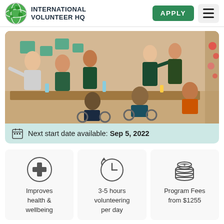INTERNATIONAL VOLUNTEER HQ
[Figure (photo): Group photo of volunteers and individuals in wheelchairs seated around a dining table, smiling, with decorative wall and greenery in background]
Next start date available: Sep 5, 2022
[Figure (infographic): Medical cross circle icon with text: Improves health & wellbeing]
[Figure (infographic): Clock icon with text: 3-5 hours volunteering per day]
[Figure (infographic): Stack of coins icon with text: Program Fees from $1255]